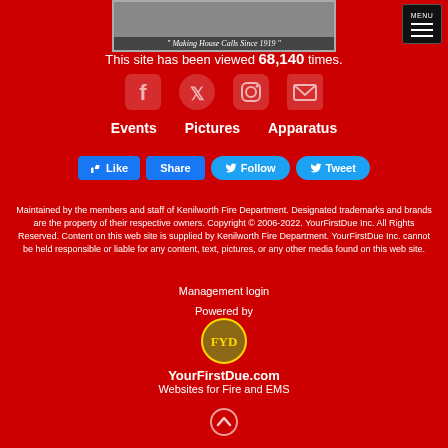[Figure (photo): Fire truck photo with tagline 'Making House Calls Since 1919']
[Figure (other): MENU hamburger button in top right]
This site has been viewed 68,140 times.
[Figure (other): Social media icons: Facebook, Twitter, Instagram, Email]
Events   Pictures   Apparatus
[Figure (other): Social buttons: Like, Share, Follow, Tweet]
Maintained by the members and staff of Kenilworth Fire Department. Designated trademarks and brands are the property of their respective owners. Copyright © 2006-2022. YourFirstDue Inc. All Rights Reserved. Content on this web site is supplied by Kenilworth Fire Department. YourFirstDue Inc. cannot be held responsible or liable for any content, text, pictures, or any other media found on this web site.
Management login
Powered by
[Figure (logo): YourFirstDue logo badge]
YourFirstDue.com
Websites for Fire and EMS